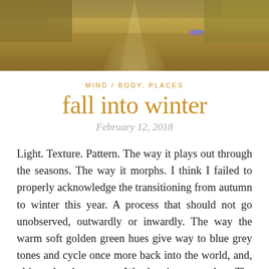[Figure (photo): Aerial or elevated view of a dirt path/trail through golden autumn grass and fields, with warm golden-brown tones. A lens flare (blue-purple) is visible on the right side.]
MIND / BODY, PLACES
fall into winter
February 12, 2018
Light. Texture. Pattern. The way it plays out through the seasons. The way it morphs. I think I failed to properly acknowledge the transitioning from autumn to winter this year. A process that should not go unobserved, outwardly or inwardly. The way the warm soft golden green hues give way to blue grey tones and cycle once more back into the world, and, ultimately, into you. Wander into wonder. The mystery, is ever present. Spring approaches, and with